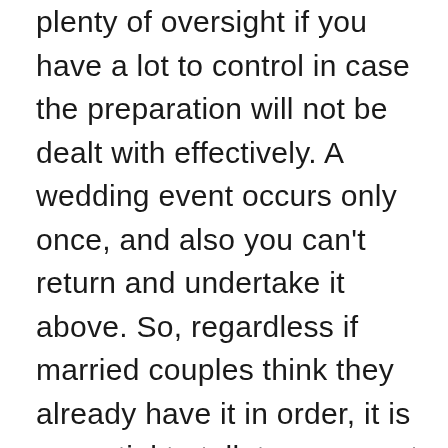plenty of oversight if you have a lot to control in case the preparation will not be dealt with effectively. A wedding event occurs only once, and also you can't return and undertake it above. So, regardless if married couples think they already have it in order, it is essential to talk to an expert who is able to give assurance on this. A coordinator can also be hired to watch over and synchronize only the wedding day. When of the wedding event the coordinator will guarantee that all the suppliers, company, bridal party, and the groom and bride know what to do and when to get it done, therefore the wedding event cash